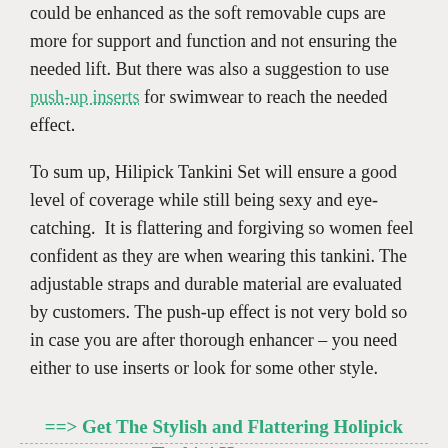could be enhanced as the soft removable cups are more for support and function and not ensuring the needed lift. But there was also a suggestion to use push-up inserts for swimwear to reach the needed effect.
To sum up, Hilipick Tankini Set will ensure a good level of coverage while still being sexy and eye-catching.  It is flattering and forgiving so women feel confident as they are when wearing this tankini. The adjustable straps and durable material are evaluated by customers. The push-up effect is not very bold so in case you are after thorough enhancer – you need either to use inserts or look for some other style.
==> Get The Stylish and Flattering Holipick Tankini Here <==